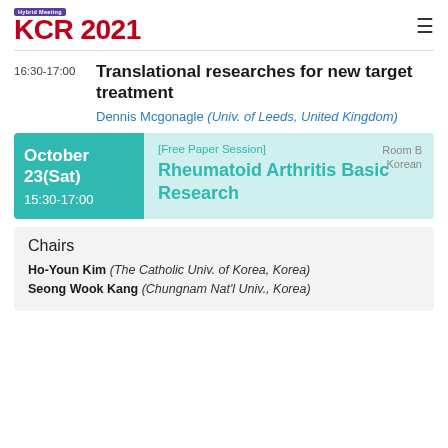KCR 2021 Hybrid Meeting
16:30-17:00
Translational researches for new target treatment
Dennis Mcgonagle (Univ. of Leeds, United Kingdom)
October 23(Sat) 15:30-17:00
[Free Paper Session] Rheumatoid Arthritis Basic Research
Room B Korean
Chairs
Ho-Youn Kim (The Catholic Univ. of Korea, Korea)
Seong Wook Kang (Chungnam Nat'l Univ., Korea)